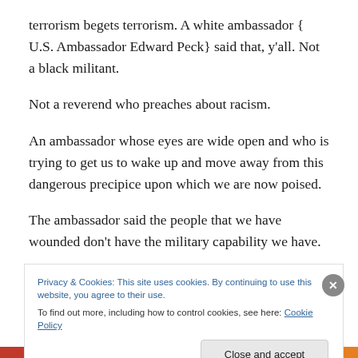terrorism begets terrorism. A white ambassador { U.S. Ambassador Edward Peck} said that, y'all. Not a black militant.
Not a reverend who preaches about racism.
An ambassador whose eyes are wide open and who is trying to get us to wake up and move away from this dangerous precipice upon which we are now poised.
The ambassador said the people that we have wounded don't have the military capability we have.
Privacy & Cookies: This site uses cookies. By continuing to use this website, you agree to their use.
To find out more, including how to control cookies, see here: Cookie Policy